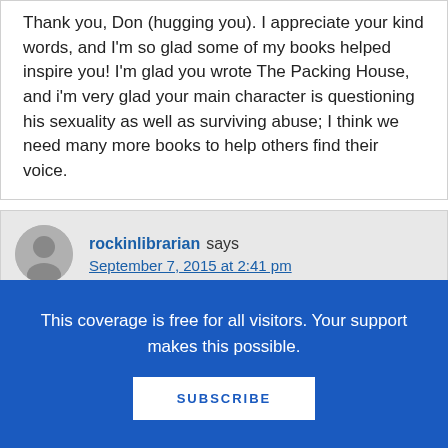Thank you, Don (hugging you). I appreciate your kind words, and I'm so glad some of my books helped inspire you! I'm glad you wrote The Packing House, and i'm very glad your main character is questioning his sexuality as well as surviving abuse; I think we need many more books to help others find their voice.
rockinlibrarian says September 7, 2015 at 2:41 pm
Wow, Cheryl. Before reading this post I knew
This coverage is free for all visitors. Your support makes this possible.
SUBSCRIBE